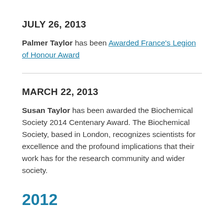JULY 26, 2013
Palmer Taylor has been Awarded France's Legion of Honour Award
MARCH 22, 2013
Susan Taylor has been awarded the Biochemical Society 2014 Centenary Award. The Biochemical Society, based in London, recognizes scientists for excellence and the profound implications that their work has for the research community and wider society.
2012